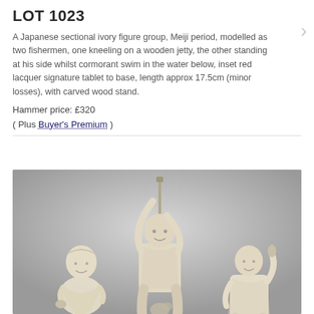LOT 1023
A Japanese sectional ivory figure group, Meiji period, modelled as two fishermen, one kneeling on a wooden jetty, the other standing at his side whilst cormorant swim in the water below, inset red lacquer signature tablet to base, length approx 17.5cm (minor losses), with carved wood stand.
Hammer price: £320
( Plus Buyer's Premium )
[Figure (photo): Photograph of three ivory figures from the Meiji period Japanese sectional ivory figure group. Three carved ivory figurines of fishermen are shown against a grey gradient background.]